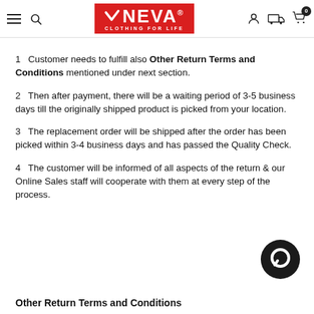[Figure (logo): NEVA Clothing For Life logo — white chevron/check mark and text on red background, with hamburger menu, search, account, delivery, and cart icons in header navigation bar]
1   Customer needs to fulfill also Other Return Terms and Conditions mentioned under next section.
2   Then after payment, there will be a waiting period of 3-5 business days till the originally shipped product is picked from your location.
3   The replacement order will be shipped after the order has been picked within 3-4 business days and has passed the Quality Check.
4   The customer will be informed of all aspects of the return & our Online Sales staff will cooperate with them at every step of the process.
[Figure (illustration): Dark circular chat/message bubble icon]
Other Return Terms and Conditions